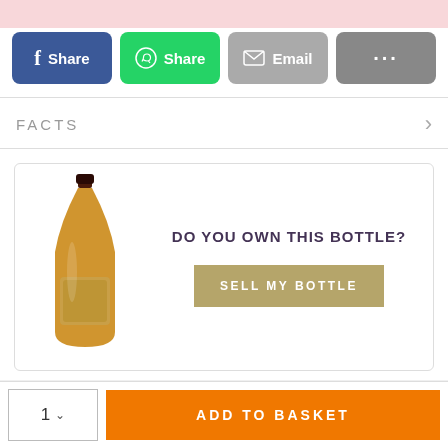[Figure (screenshot): Top pink banner strip]
[Figure (infographic): Share buttons row: Facebook Share (blue), WhatsApp Share (green), Email (grey), ... (dark grey)]
FACTS
[Figure (infographic): Sell my bottle box with bottle image on left, DO YOU OWN THIS BOTTLE? text and SELL MY BOTTLE button on right]
MORE FROM BALVENIE
[Figure (infographic): Bottom bar with quantity selector showing '1' and dropdown arrow, and orange ADD TO BASKET button]